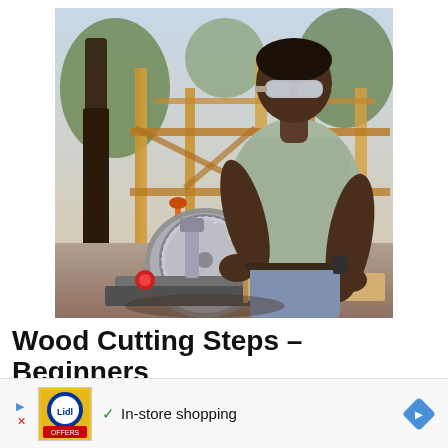[Figure (photo): A man wearing safety goggles and a light green t-shirt uses a miter saw to cut wood at an outdoor construction site with wooden framing structure in the background. Sawdust is visible in the air.]
Wood Cutting Steps – Beginners
[Figure (other): Advertisement bar showing a Lidl store ad thumbnail with a play button triangle, an X close button, a green checkmark, the text 'In-store shopping', and a blue diamond-shaped navigation arrow on the right.]